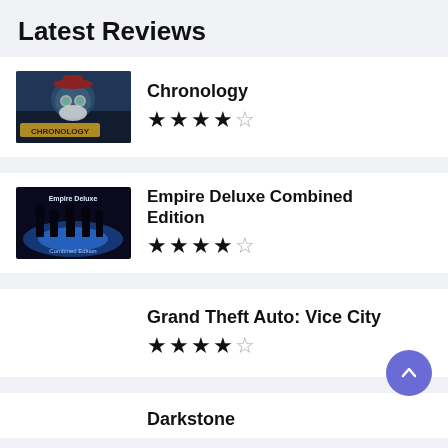Latest Reviews
Chronology ★★★★★½
Empire Deluxe Combined Edition ★★★★★½
Grand Theft Auto: Vice City ★★★★★½
Darkstone